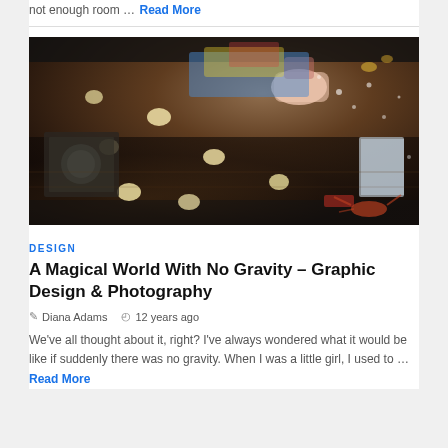not enough room … Read More
[Figure (photo): Surreal overhead/inverted photo of a kitchen with a woman and floating objects including eggs, kitchen items scattered as if gravity is reversed]
DESIGN
A Magical World With No Gravity – Graphic Design & Photography
Diana Adams   12 years ago
We've all thought about it, right? I've always wondered what it would be like if suddenly there was no gravity. When I was a little girl, I used to … Read More